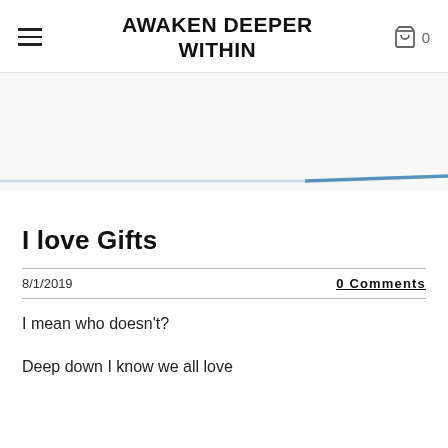AWAKEN DEEPER WITHIN
[Figure (illustration): Hero banner area with a subtle blue gradient line across the bottom, representing a website hero image placeholder]
I love Gifts
8/1/2019
0 Comments
I mean who doesn't?
Deep down I know we all love